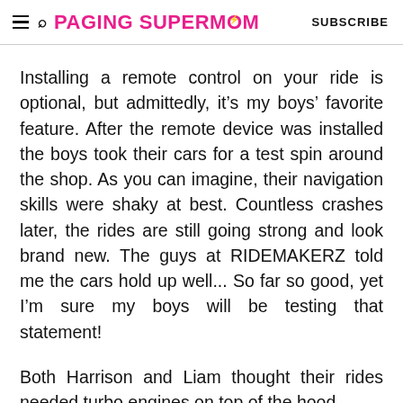PAGING SUPERMOM  SUBSCRIBE
Installing a remote control on your ride is optional, but admittedly, it’s my boys’ favorite feature. After the remote device was installed the boys took their cars for a test spin around the shop. As you can imagine, their navigation skills were shaky at best. Countless crashes later, the rides are still going strong and look brand new. The guys at RIDEMAKERZ told me the cars hold up well... So far so good, yet I’m sure my boys will be testing that statement!
Both Harrison and Liam thought their rides needed turbo engines on top of the hood.